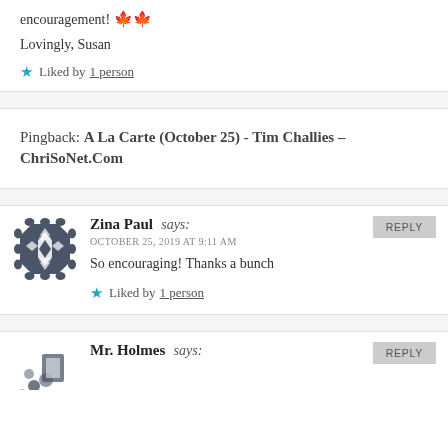encouragement! 🍁🍁
Lovingly, Susan
★ Liked by 1 person
Pingback: A La Carte (October 25) - Tim Challies – ChriSoNet.Com
REPLY
Zina Paul says:
OCTOBER 25, 2019 AT 9:11 AM
So encouraging! Thanks a bunch
★ Liked by 1 person
REPLY
Mr. Holmes says: